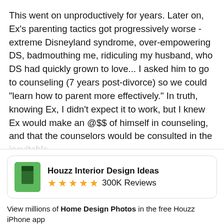This went on unproductively for years. Later on, Ex's parenting tactics got progressively worse - extreme Disneyland syndrome, over-empowering DS, badmouthing me, ridiculing my husband, who DS had quickly grown to love... I asked him to go to counseling (7 years post-divorce) so we could "learn how to parent more effectively." In truth, knowing Ex, I didn't expect it to work, but I knew Ex would make an @$$ of himself in counseling, and that the counselors would be consulted in the inevitable
[Figure (infographic): Houzz Interior Design Ideas app advertisement banner with green logo, 5 star rating, 300K Reviews label, description text, Continue button, and Go to Mobile Site link]